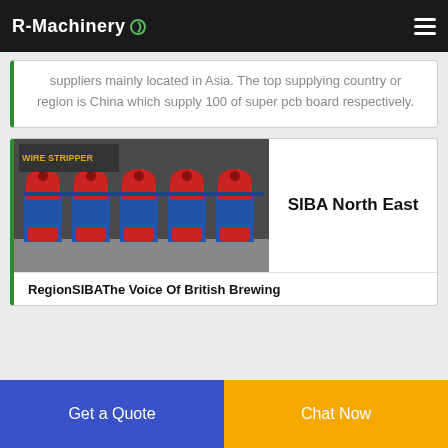R-Machinery
suppliers mainly located in Asia. The top supplying country or region is China which supply 100 of super pcb board respectively.
[Figure (photo): Blue industrial wire stripping machines with red components lined up in a row on a factory floor]
SIBA North East
RegionSIBAThe Voice Of British Brewing